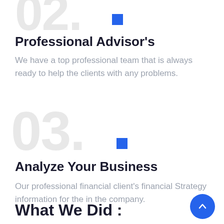[Figure (other): Large light gray '02.' number watermark with a small blue square accent, partially cropped at top of page]
Professional Advisor's
We have a top professional team that is always ready to help the clients with any problems.
[Figure (other): Large light gray '03.' number watermark with a small blue square accent]
Analyze Your Business
Our professional financial client's financial Strategy information for the in the company.
What We Did :